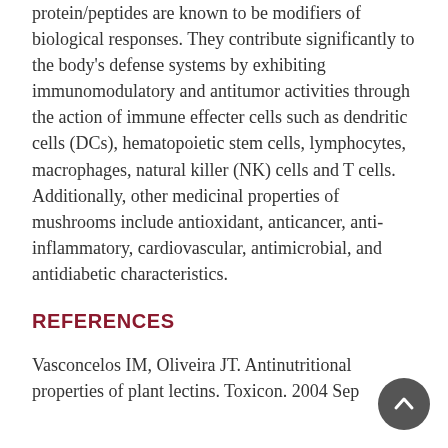protein/peptides are known to be modifiers of biological responses. They contribute significantly to the body's defense systems by exhibiting immunomodulatory and antitumor activities through the action of immune effecter cells such as dendritic cells (DCs), hematopoietic stem cells, lymphocytes, macrophages, natural killer (NK) cells and T cells. Additionally, other medicinal properties of mushrooms include antioxidant, anticancer, anti-inflammatory, cardiovascular, antimicrobial, and antidiabetic characteristics.
REFERENCES
Vasconcelos IM, Oliveira JT. Antinutritional properties of plant lectins. Toxicon. 2004 Sep